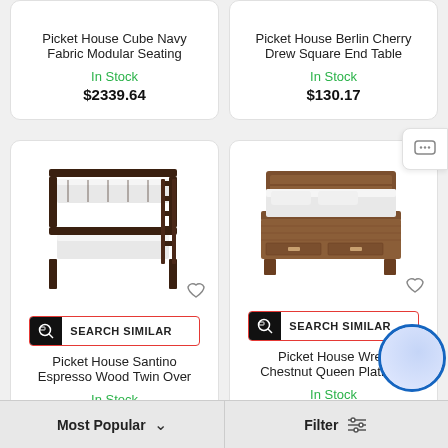Picket House Cube Navy Fabric Modular Seating
In Stock
$2339.64
Picket House Berlin Cherry Drew Square End Table
In Stock
$130.17
[Figure (photo): Bunk bed - dark espresso wood twin over twin bunk bed with ladder]
SEARCH SIMILAR
Picket House Santino Espresso Wood Twin Over
In Stock
$528.97
[Figure (photo): Platform bed - chestnut wood queen platform bed with storage drawers]
SEARCH SIMILAR
Picket House Wren Chestnut Queen Platform
In Stock
$685.09
Most Popular  Filter